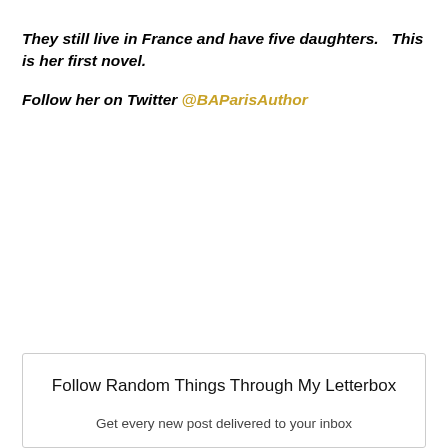They still live in France and have five daughters.   This is her first novel.
Follow her on Twitter @BAParisAuthor
Follow Random Things Through My Letterbox
Get every new post delivered to your inbox